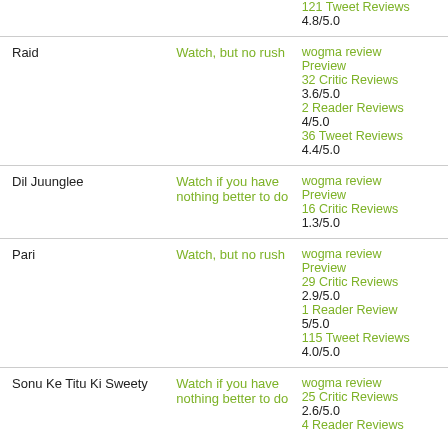| Movie | Verdict | Reviews |
| --- | --- | --- |
|  |  | 121 Tweet Reviews
4.8/5.0 |
| Raid | Watch, but no rush | wogma review
Preview
32 Critic Reviews
3.6/5.0
2 Reader Reviews
4/5.0
36 Tweet Reviews
4.4/5.0 |
| Dil Juunglee | Watch if you have nothing better to do | wogma review
Preview
16 Critic Reviews
1.3/5.0 |
| Pari | Watch, but no rush | wogma review
Preview
29 Critic Reviews
2.9/5.0
1 Reader Review
5/5.0
115 Tweet Reviews
4.0/5.0 |
| Sonu Ke Titu Ki Sweety | Watch if you have nothing better to do | wogma review
25 Critic Reviews
2.6/5.0
4 Reader Reviews |